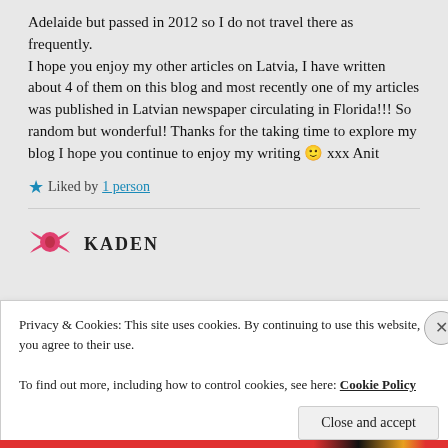Adelaide but passed in 2012 so I do not travel there as frequently.
I hope you enjoy my other articles on Latvia, I have written about 4 of them on this blog and most recently one of my articles was published in Latvian newspaper circulating in Florida!!! So random but wonderful! Thanks for the taking time to explore my blog I hope you continue to enjoy my writing 🙂 xxx Anit
★ Liked by 1 person
KADEN
Privacy & Cookies: This site uses cookies. By continuing to use this website, you agree to their use.
To find out more, including how to control cookies, see here: Cookie Policy
Close and accept